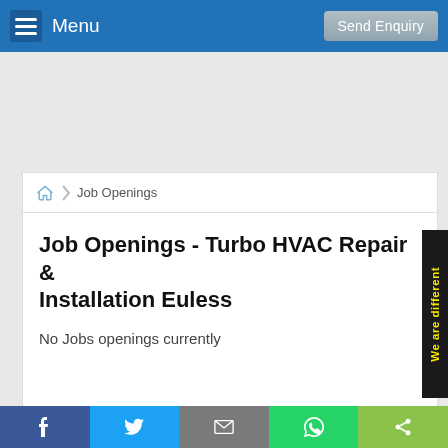Menu    Send Enquiry
Job Openings
Job Openings - Turbo HVAC Repair & Installation Euless
No Jobs openings currently
We are different
f  (Twitter)  (Email)  (WhatsApp)  (Share)